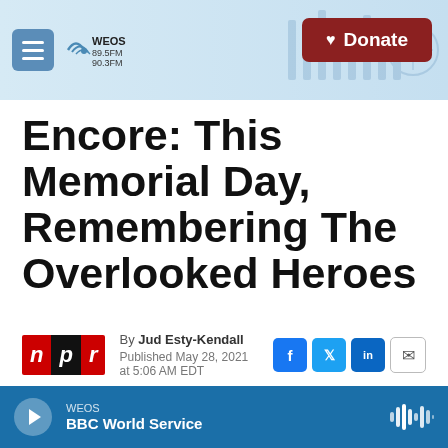WEOS 89.5FM 90.3FM Geneva — Donate
Encore: This Memorial Day, Remembering The Overlooked Heroes
By Jud Esty-Kendall
Published May 28, 2021 at 5:06 AM EDT
[Figure (other): LISTEN • 3:18 audio play button]
WEOS BBC World Service — audio player bar